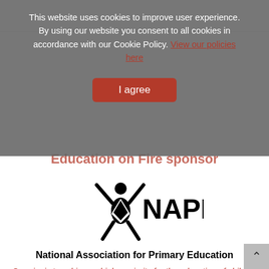This website uses cookies to improve user experience. By using our website you consent to all cookies in accordance with our Cookie Policy. View our policies here
I agree
Education on Fire sponsor
[Figure (logo): NAPE logo — stylized figure with arms raised beside the text NAPE in bold]
National Association for Primary Education
Our aim is to achieve a higher priority for the education of children from birth to 13. High quality learning in the early years of life is vitally important to the creation of an educated society. Young children are not simply preparing for the future, they are living a never to be repeated time of life and the best way to learn is to live.